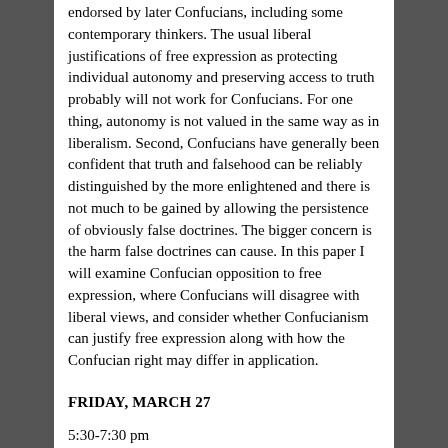endorsed by later Confucians, including some contemporary thinkers. The usual liberal justifications of free expression as protecting individual autonomy and preserving access to truth probably will not work for Confucians. For one thing, autonomy is not valued in the same way as in liberalism. Second, Confucians have generally been confident that truth and falsehood can be reliably distinguished by the more enlightened and there is not much to be gained by allowing the persistence of obviously false doctrines. The bigger concern is the harm false doctrines can cause. In this paper I will examine Confucian opposition to free expression, where Confucians will disagree with liberal views, and consider whether Confucianism can justify free expression along with how the Confucian right may differ in application.
FRIDAY, MARCH 27
5:30-7:30 pm
Rm. 101, 80 Claremont Ave, Columbia University